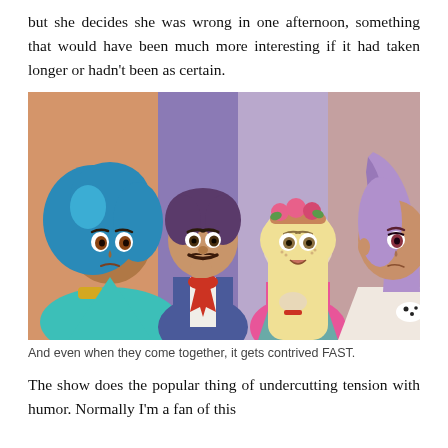but she decides she was wrong in one afternoon, something that would have been much more interesting if it had taken longer or hadn't been as certain.
[Figure (illustration): Animated cartoon illustration showing four characters from what appears to be an animated show. From left to right: a dark-skinned girl with blue hair wearing teal outfit, a man with a mustache in a blue jacket with red scarf, a light-skinned blonde girl with pink floral headband wearing pink and teal, and a girl with purple/lilac hair on the right edge of frame. Background shows colorful panels in orange, purple, and mauve tones.]
And even when they come together, it gets contrived FAST.
The show does the popular thing of undercutting tension with humor. Normally I'm a fan of this